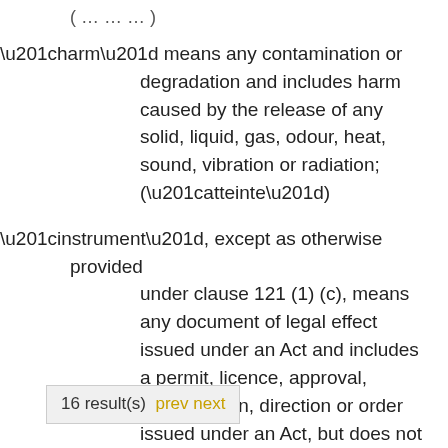“harm” means any contamination or degradation and includes harm caused by the release of any solid, liquid, gas, odour, heat, sound, vibration or radiation; (“atteinte”)
“instrument”, except as otherwise provided under clause 121 (1) (c), means any document of legal effect issued under an Act and includes a permit, licence, approval, authorization, direction or order issued under an Act, but does not include a regulation; (“acte”)
“land” means surface land not enclosed in a structure, whether or not covered by water (which, for greater certainty, includes wetland) and all
16 result(s) prev next